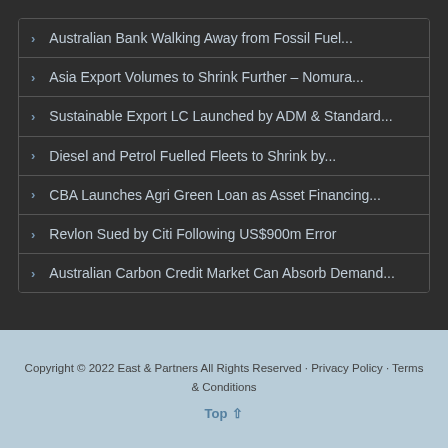Australian Bank Walking Away from Fossil Fuel...
Asia Export Volumes to Shrink Further – Nomura...
Sustainable Export LC Launched by ADM & Standard...
Diesel and Petrol Fuelled Fleets to Shrink by...
CBA Launches Agri Green Loan as Asset Financing...
Revlon Sued by Citi Following US$900m Error
Australian Carbon Credit Market Can Absorb Demand...
Copyright © 2022 East & Partners All Rights Reserved · Privacy Policy · Terms & Conditions